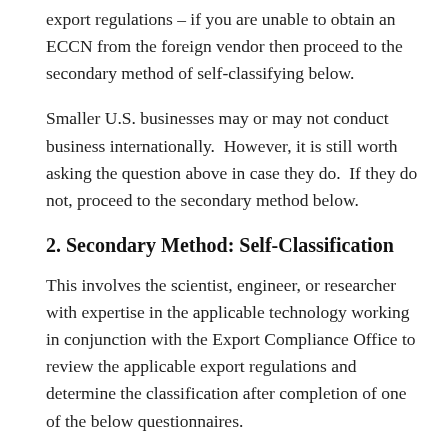export regulations – if you are unable to obtain an ECCN from the foreign vendor then proceed to the secondary method of self-classifying below.
Smaller U.S. businesses may or may not conduct business internationally.  However, it is still worth asking the question above in case they do.  If they do not, proceed to the secondary method below.
2. Secondary Method: Self-Classification
This involves the scientist, engineer, or researcher with expertise in the applicable technology working in conjunction with the Export Compliance Office to review the applicable export regulations and determine the classification after completion of one of the below questionnaires.